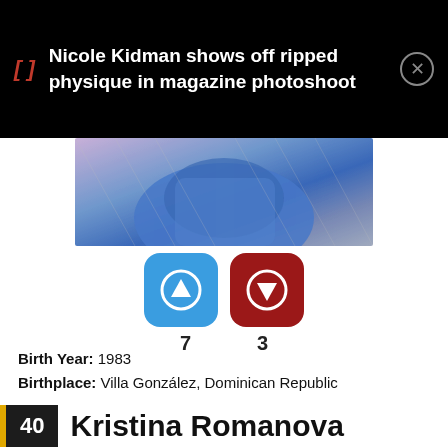Nicole Kidman shows off ripped physique in magazine photoshoot
[Figure (photo): Partial photo of a person in a blue outfit with a fence/mesh background, pink-purple tones]
[Figure (infographic): Up vote button (blue, arrow up) with count 7, down vote button (red, arrow down) with count 3]
Birth Year: 1983
Birthplace: Villa González, Dominican Republic
40 Kristina Romanova
Celebrities Born On My Birthday? Enter Your DOB GO